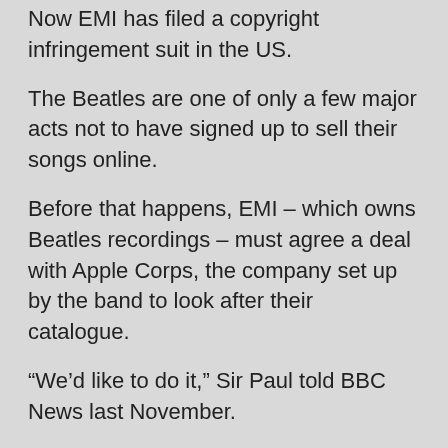Now EMI has filed a copyright infringement suit in the US.
The Beatles are one of only a few major acts not to have signed up to sell their songs online.
Before that happens, EMI – which owns Beatles recordings – must agree a deal with Apple Corps, the company set up by the band to look after their catalogue.
“We’d like to do it,” Sir Paul told BBC News last November.
“We are very for it, we’ve been pushing it. But there are a couple of sticking points, I understand.”
He added: “EMI want something we’re not prepared to give ’em.
“It’s between EMI and The Beatles I think – what else is